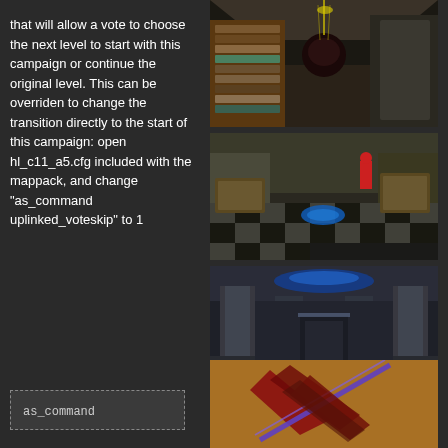that will allow a vote to choose the next level to start with this campaign or continue the original level. This can be overriden to change the transition directly to the start of this campaign: open hl_c11_a5.cfg included with the mappack, and change "as_command uplinked_voteskip" to 1
[Figure (screenshot): First-person view of a hallway with bookshelves on the left and what appears to be a dark floating creature]
[Figure (screenshot): First-person view of a room with checkered floor tiles, crates, and a blue circular object on the floor with a red figure in the background]
[Figure (screenshot): First-person view of an indoor facility with large pillars, blue ceiling light, and a central elevator or platform]
[Figure (screenshot): Partial view showing what appears to be weapon or item artwork on a brown/orange background]
as_command